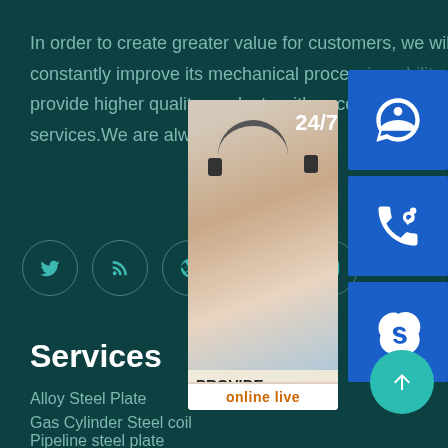In order to create greater value for customers, we will constantly improve its mechanical processing ability, provide higher quality products with excellent services.We are always on the road...
[Figure (infographic): Five social media icon circles: Twitter, RSS feed, Dribbble, Behance, Instagram — teal colored icons on dark teal circular borders]
[Figure (infographic): Customer service popup overlay with: 24/7 label, photo of woman with headset, PROVIDE Empowering Customers text, online live button in orange, and three blue square icon tiles (customer service headset, phone, Skype) stacked on the right side, plus a teal circular up-arrow button]
Services
Alloy Steel Plate
Gas Cylinder Steel coil
Pipeline steel plate